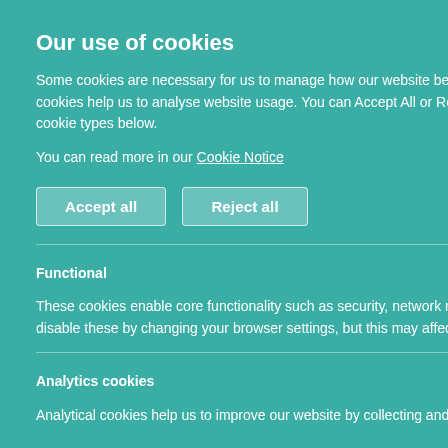[Figure (screenshot): Background webpage with grey content partially visible behind a cookie consent overlay panel]
Our use of cookies
Some cookies are necessary for us to manage how our website behaves while other optional, or non-necessary, cookies help us to analyse website usage. You can Accept All or Reject All optional cookies or control individual cookie types below.
You can read more in our Cookie Notice
Accept all
Reject all
Functional
These cookies enable core functionality such as security, network management, and accessibility. You may disable these by changing your browser settings, but this may affect how the website functions.
Analytics cookies
Analytical cookies help us to improve our website by collecting and reporting information on its usage.